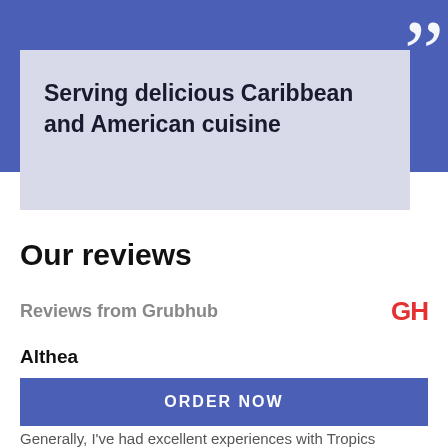Serving delicious Caribbean and American cuisine
Our reviews
Reviews from Grubhub
Althea
ORDER NOW
Generally, I've had excellent experiences with Tropics